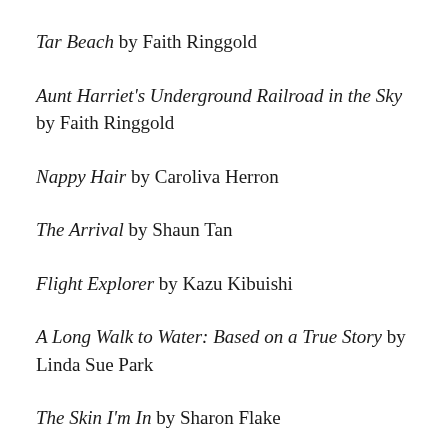Tar Beach by Faith Ringgold
Aunt Harriet's Underground Railroad in the Sky by Faith Ringgold
Nappy Hair by Caroliva Herron
The Arrival by Shaun Tan
Flight Explorer by Kazu Kibuishi
A Long Walk to Water: Based on a True Story by Linda Sue Park
The Skin I'm In by Sharon Flake